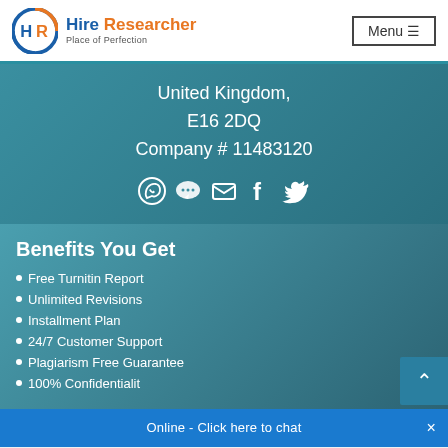[Figure (logo): Hire Researcher logo with HR circular icon in blue and orange, text 'Hire Researcher Place of Perfection']
United Kingdom,
E16 2DQ
Company # 11483120
[Figure (infographic): Social media icons: WhatsApp, chat bubble, email, Facebook, Twitter in white]
Benefits You Get
Free Turnitin Report
Unlimited Revisions
Installment Plan
24/7 Customer Support
Plagiarism Free Guarantee
100% Confidentialit…
Online - Click here to chat